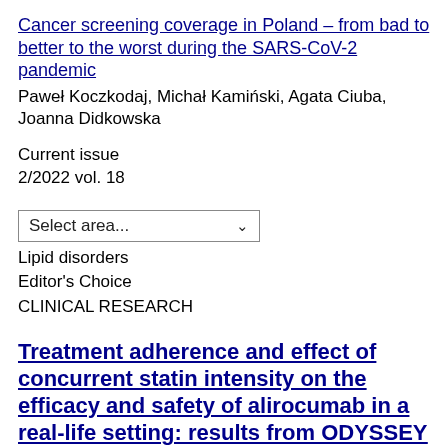Cancer screening coverage in Poland – from bad to better to the worst during the SARS-CoV-2 pandemic
Paweł Koczkodaj, Michał Kamiński, Agata Ciuba, Joanna Didkowska
Current issue
2/2022 vol. 18
Select area...
Lipid disorders
Editor's Choice
CLINICAL RESEARCH
Treatment adherence and effect of concurrent statin intensity on the efficacy and safety of alirocumab in a real-life setting: results from ODYSSEY APPRISE
Maciej Banach
, José Luis López-Sendon